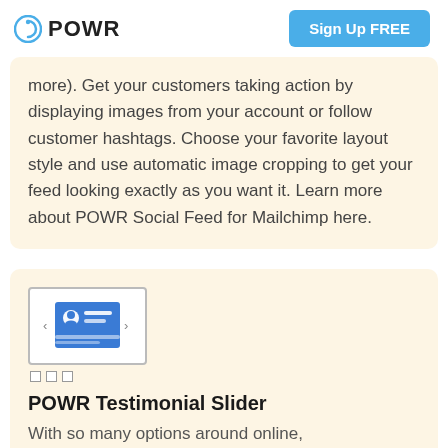POWR | Sign Up FREE
more). Get your customers taking action by displaying images from your account or follow customer hashtags. Choose your favorite layout style and use automatic image cropping to get your feed looking exactly as you want it. Learn more about POWR Social Feed for Mailchimp here.
[Figure (illustration): Testimonial Slider plugin icon showing a card with a blue user icon and horizontal text lines, with navigation arrows on each side and three small square dots below]
POWR Testimonial Slider
With so many options around online,